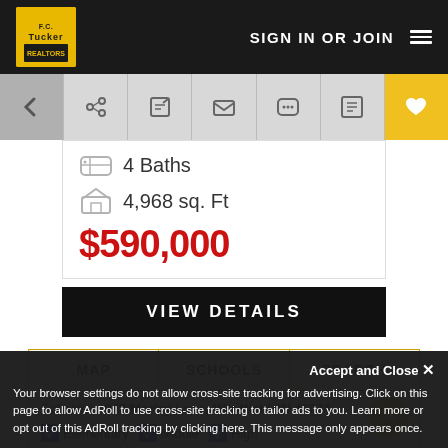SIGN IN OR JOIN
4 Baths
4,968 sq. Ft
$590,000
VIEW DETAILS
MAP | SCHOOLS | SEARCH
Schools in 942 Morley Lane, Westfield, IN 46074:
Elementary  Middle  High
Accept and Close ×
Your browser settings do not allow cross-site tracking for advertising. Click on this page to allow AdRoll to use cross-site tracking to tailor ads to you. Learn more or opt out of this AdRoll tracking by clicking here. This message only appears once.